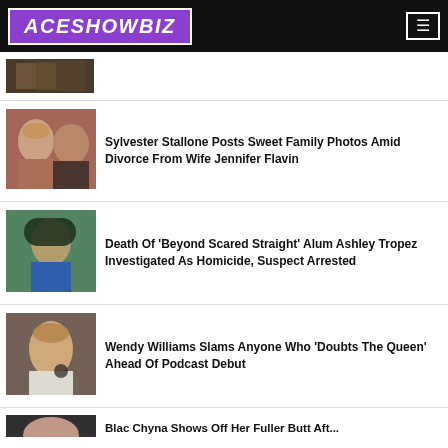ACESHOWBIZ
[Figure (photo): Partially visible thumbnail photo at top]
Sylvester Stallone Posts Sweet Family Photos Amid Divorce From Wife Jennifer Flavin
Death Of 'Beyond Scared Straight' Alum Ashley Tropez Investigated As Homicide, Suspect Arrested
Wendy Williams Slams Anyone Who 'Doubts The Queen' Ahead Of Podcast Debut
Blac Chyna Shows Off Her Fuller Butt Aft...